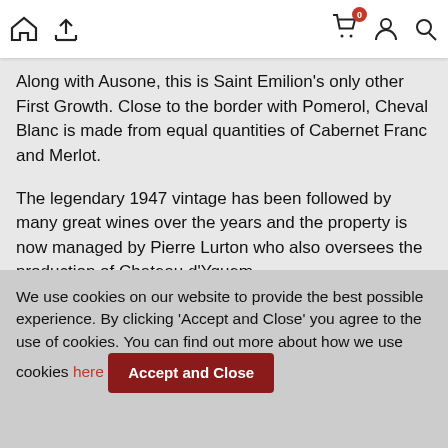Navigation bar with home icon, upload icon, cart (0), user icon, search icon
Along with Ausone, this is Saint Emilion's only other First Growth. Close to the border with Pomerol, Cheval Blanc is made from equal quantities of Cabernet Franc and Merlot.
The legendary 1947 vintage has been followed by many great wines over the years and the property is now managed by Pierre Lurton who also oversees the production of Chateau d'Yquem.
We use cookies on our website to provide the best possible experience. By clicking 'Accept and Close' you agree to the use of cookies. You can find out more about how we use cookies here Accept and Close